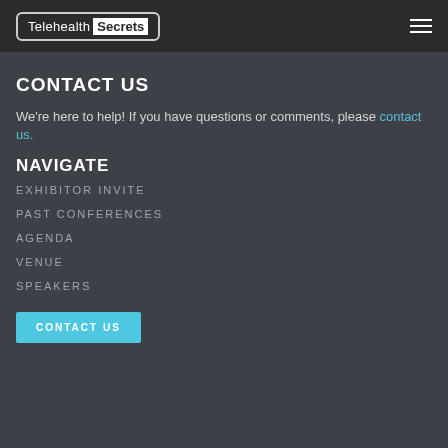Telehealth Secrets
CONTACT US
We're here to help! If you have questions or comments, please contact us.
NAVIGATE
EXHIBITOR INVITE
PAST CONFERENCES
AGENDA
VENUE
SPEAKERS
CONTACT US